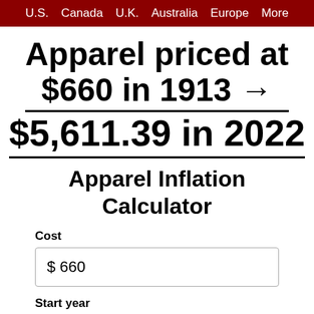U.S. Canada U.K. Australia Europe More
Apparel priced at $660 in 1913 → $5,611.39 in 2022
Apparel Inflation Calculator
Cost
$ 660
Start year